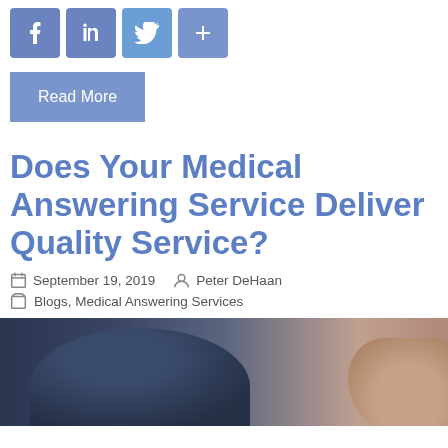[Figure (other): Social sharing icons: Facebook (f), LinkedIn (in), Twitter bird, Plus (+) button — all in blue square buttons]
Read More
Does Your Medical Answering Service Deliver Quality Service?
September 19, 2019   Peter DeHaan
Blogs, Medical Answering Services
[Figure (photo): A person in a dark suit jacket with a thumbs-up gesture visible on the right side, blurred background]